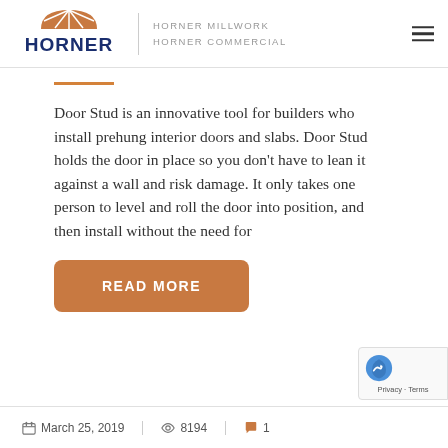[Figure (logo): Horner Millwork / Horner Commercial logo with blue HORNER wordmark and orange fan icon, alongside text 'HORNER MILLWORK HORNER COMMERCIAL']
Door Stud is an innovative tool for builders who install prehung interior doors and slabs. Door Stud holds the door in place so you don't have to lean it against a wall and risk damage. It only takes one person to level and roll the door into position, and then install without the need for
READ MORE
March 25, 2019   8194   1